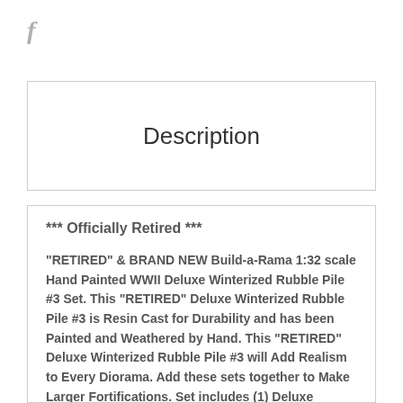f
Description
*** Officially Retired ***

"RETIRED" & BRAND NEW Build-a-Rama 1:32 scale Hand Painted WWII Deluxe Winterized Rubble Pile #3 Set. This "RETIRED" Deluxe Winterized Rubble Pile #3 is Resin Cast for Durability and has been Painted and Weathered by Hand. This "RETIRED" Deluxe Winterized Rubble Pile #3 will Add Realism to Every Diorama. Add these sets together to Make Larger Fortifications. Set includes (1) Deluxe Rubble Pile #3 approx. 6" long.

*** Build-a-Rama's Founder & President Mark